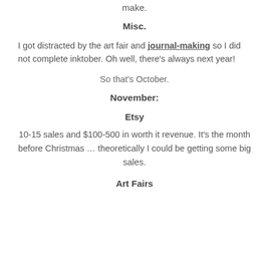make.
Misc.
I got distracted by the art fair and journal-making so I did not complete inktober. Oh well, there's always next year!
So that's October.
November:
Etsy
10-15 sales and $100-500 in worth it revenue. It's the month before Christmas … theoretically I could be getting some big sales.
Art Fairs